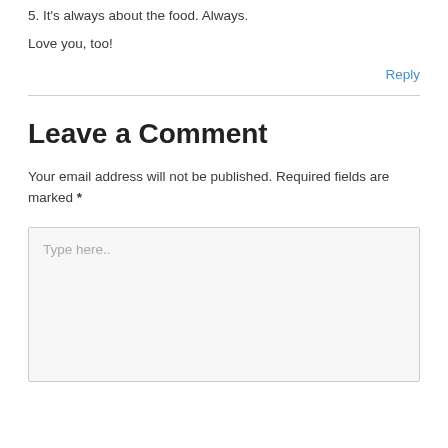5. It's always about the food. Always.
Love you, too!
Reply
Leave a Comment
Your email address will not be published. Required fields are marked *
Type here..